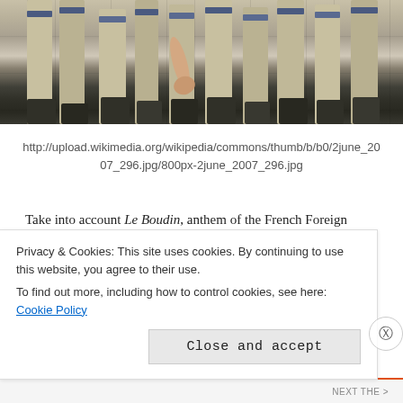[Figure (photo): Marching soldiers in grey uniforms with blue and khaki belts, legs in motion, photographed from the waist down]
http://upload.wikimedia.org/wikipedia/commons/thumb/b/b0/2june_2007_296.jpg/800px-2june_2007_296.jpg
Take into account Le Boudin, anthem of the French Foreign Legion, in time and space as far apart from India and Pakistan as it could be.
The prelude refers to a round-bottomed bum-boy getting sodomized
Privacy & Cookies: This site uses cookies. By continuing to use this website, you agree to their use.
To find out more, including how to control cookies, see here: Cookie Policy
Close and accept